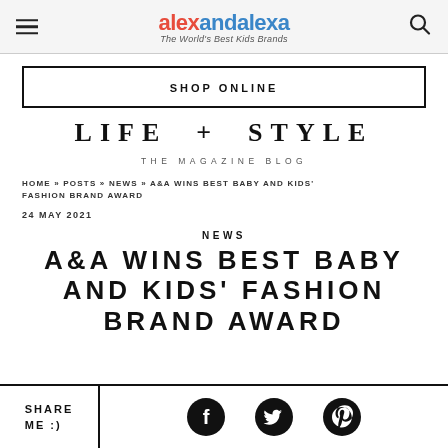alex and alexa — The World's Best Kids Brands
SHOP ONLINE
LIFE + STYLE
THE MAGAZINE BLOG
HOME » POSTS » NEWS » A&A WINS BEST BABY AND KIDS' FASHION BRAND AWARD
24 MAY 2021
NEWS
A&A WINS BEST BABY AND KIDS' FASHION BRAND AWARD
SHARE ME :)